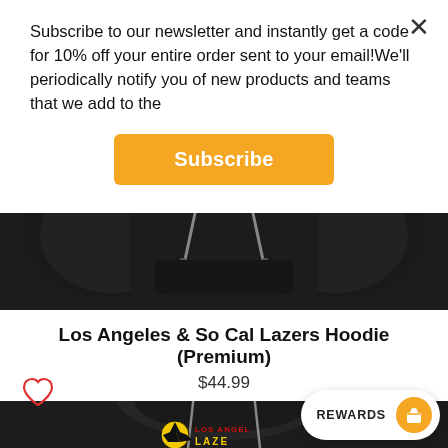[Figure (screenshot): Black hoodie product image - top portion showing front of black premium hoodie with sleeves visible on sides]
Subscribe to our newsletter and instantly get a code for 10% off your entire order sent to your email!We'll periodically notify you of new products and teams that we add to the
Subscribe
Los Angeles & So Cal Lazers Hoodie (Premium)
$44.99
[Figure (photo): Black premium hoodie with Los Angeles Lazers soccer team graphics - yellow soccer ball and team text visible on front]
REWARDS